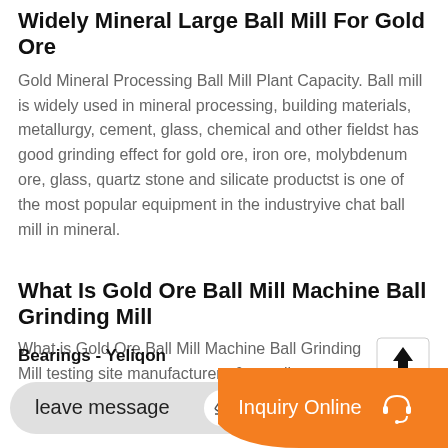Widely Mineral Large Ball Mill For Gold Ore
Gold Mineral Processing Ball Mill Plant Capacity. Ball mill is widely used in mineral processing, building materials, metallurgy, cement, glass, chemical and other fieldst has good grinding effect for gold ore, iron ore, molybdenum ore, glass, quartz stone and silicate productst is one of the most popular equipment in the industryive chat ball mill in mineral.
What Is Gold Ore Ball Mill Machine Ball Grinding Mill
What is Gold Ore Ball Mill Machine Ball Grinding Mill testing site manufacturers & suppliers on Video Channel of Made-in-China.com.
[Figure (other): Upload/share button icon with upward arrow and underline]
Bearings - Yeliqon
[Figure (other): Bottom UI bar with 'leave message' button with pencil icon and 'Inquiry Online' orange button with headset icon]